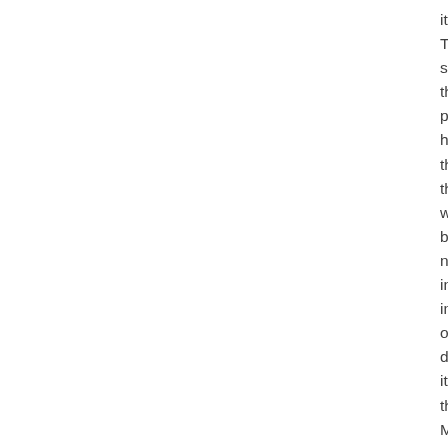it. The sim the pla hel thin tha we bes not ins imr one dec itse the Mig Yar Em and (so ode cal itas